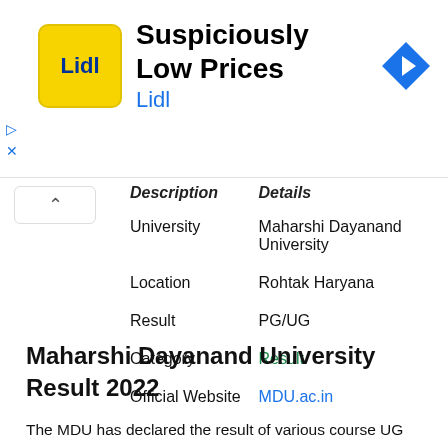[Figure (other): Advertisement banner for Lidl 'Suspiciously Low Prices' podcast/show with yellow logo and blue navigation icon]
| Description | Details |
| --- | --- |
| University | Maharshi Dayanand University |
| Location | Rohtak Haryana |
| Result | PG/UG |
| Category | Result |
| Official Website | MDU.ac.in |
Maharshi Dayanand University Result 2022
The MDU has declared the result of various course UG and PG programs that candidates who have appeared on the MDU exam can check their results for the link